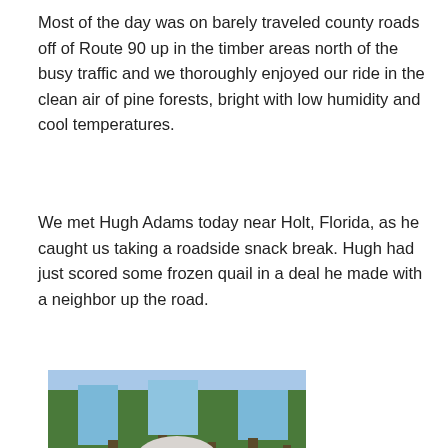Most of the day was on barely traveled county roads off of Route 90 up in the timber areas north of the busy traffic and we thoroughly enjoyed our ride in the clean air of pine forests, bright with low humidity and cool temperatures.
We met Hugh Adams today near Holt, Florida, as he caught us taking a roadside snack break. Hugh had just scored some frozen quail in a deal he made with a neighbor up the road.
[Figure (photo): An older white-haired man wearing glasses and a plaid shirt, photographed outdoors near a red vehicle with trees in the background on a sunny day.]